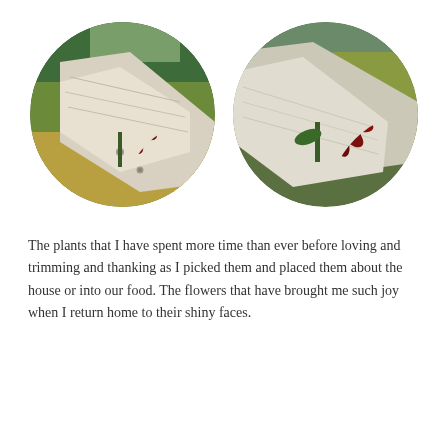[Figure (photo): Circular cropped photo of a dark red sunflower resting on weathered white driftwood, with green forest trees in the background.]
[Figure (photo): Circular cropped close-up photo of a dark red/burgundy sunflower on white driftwood, with autumn-colored foliage in the background.]
The plants that I have spent more time than ever before loving and trimming and thanking as I picked them and placed them about the house or into our food. The flowers that have brought me such joy when I return home to their shiny faces.